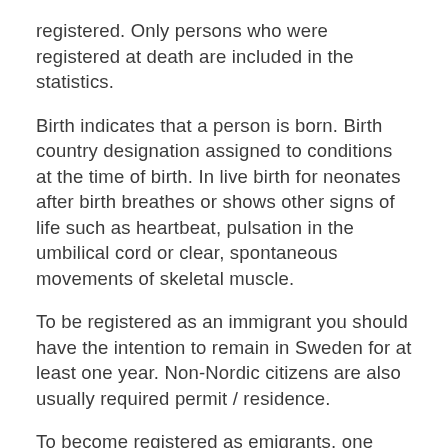registered. Only persons who were registered at death are included in the statistics.
Birth indicates that a person is born. Birth country designation assigned to conditions at the time of birth. In live birth for neonates after birth breathes or shows other signs of life such as heartbeat, pulsation in the umbilical cord or clear, spontaneous movements of skeletal muscle.
To be registered as an immigrant you should have the intention to remain in Sweden for at least one year. Non-Nordic citizens are also usually required permit / residence.
To become registered as emigrants, one must have the intention to reside abroad for at least one year. Some exceptions to the one-year rule available, including if you emigrate to Denmark